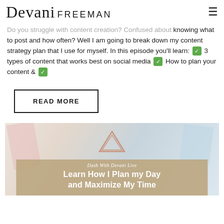Devani FREEMAN
Do you struggle with content creation? Confused about knowing what to post and how often? Well I am going to break down my content strategy plan that I use for myself. In this episode you'll learn: ✅ 3 types of content that works best on social media ✅ How to plan your content & ✅
READ MORE
[Figure (photo): Flat lay photo of planner, pencils and phone on marble desk surface with a tan overlay block containing italic script 'Dash With Devani Live' and bold white text 'Learn How I Plan my Day and Maximize My Time']